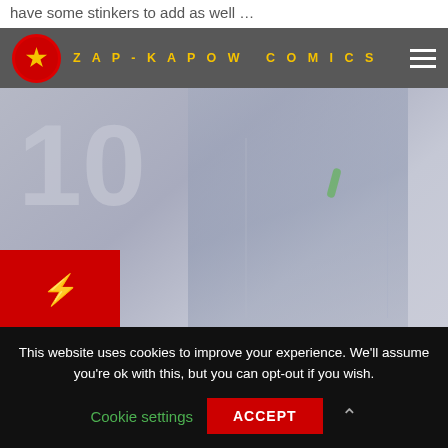have some stinkers to add as well …
ZAP-KAPOW COMICS
[Figure (photo): Hero image showing number 10 in large text with a dark metallic superhero figure (Spawn) in the background, with a red badge containing a lightning bolt icon at the bottom left]
10. Spawn (1997)
We've like to give it an 'A' for effort – and 'Spawn' had its moments – but something as epic as Todd McFarlane's angel of death anti-hero needed a budget MUCH larger than
This website uses cookies to improve your experience. We'll assume you're ok with this, but you can opt-out if you wish.